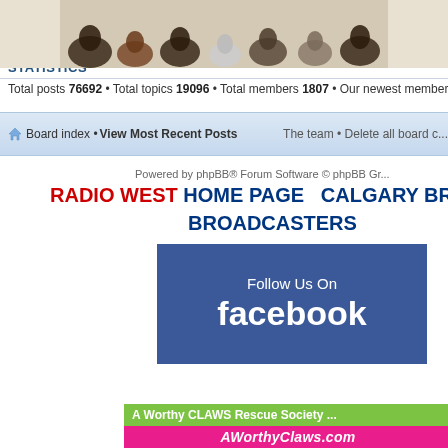Registered users: Bing [Bot], Google [Bot]
Legend: Administrators, Bots
STATISTICS
Total posts 76692 • Total topics 19096 • Total members 1807 • Our newest member Man...
Board index • View Most Recent Posts    The team • Delete all board c...
Powered by phpBB® Forum Software © phpBB Gr...
RADIO WEST HOME PAGE   CALGARY BROADO BROADCASTERS
[Figure (screenshot): Follow Us On Facebook button with blue background]
[Figure (photo): A Worthy CLAWS Rescue Society advertisement with animals, green bar text 'A Worthy CLAWS Rescue Society' and pink bar 'AWorthyClaws.com']